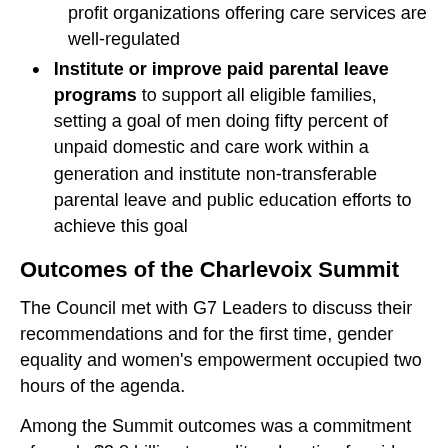profit organizations offering care services are well-regulated
Institute or improve paid parental leave programs to support all eligible families, setting a goal of men doing fifty percent of unpaid domestic and care work within a generation and institute non-transferable parental leave and public education efforts to achieve this goal
Outcomes of the Charlevoix Summit
The Council met with G7 Leaders to discuss their recommendations and for the first time, gender equality and women's empowerment occupied two hours of the agenda.
Among the Summit outcomes was a commitment of nearly $3.8 billion to quality education for girls, adolescent girls and women in developing countries, especially in crisis situations. French President Emmanuel Macron declared that France's G7 Presidency in 2019 would continue to advocate for the rights of girls and women,